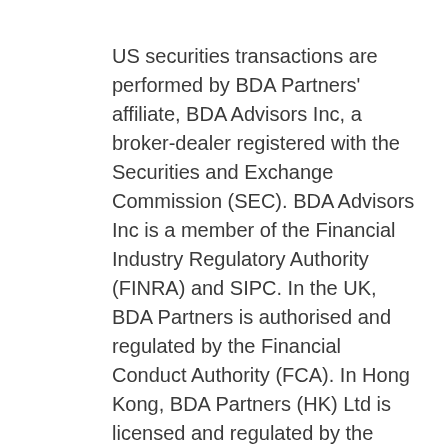US securities transactions are performed by BDA Partners' affiliate, BDA Advisors Inc, a broker-dealer registered with the Securities and Exchange Commission (SEC). BDA Advisors Inc is a member of the Financial Industry Regulatory Authority (FINRA) and SIPC. In the UK, BDA Partners is authorised and regulated by the Financial Conduct Authority (FCA). In Hong Kong, BDA Partners (HK) Ltd is licensed and regulated by the Securities & Futures Commission (SFC) to conduct Type 1 and Type 4 regulated activities to professional investors.